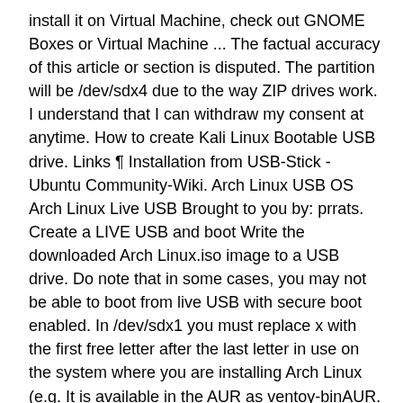install it on Virtual Machine, check out GNOME Boxes or Virtual Machine ... The factual accuracy of this article or section is disputed. The partition will be /dev/sdx4 due to the way ZIP drives work. I understand that I can withdraw my consent at anytime. How to create Kali Linux Bootable USB drive. Links ¶ Installation from USB-Stick - Ubuntu Community-Wiki. Arch Linux USB OS Arch Linux Live USB Brought to you by: prrats. Create a LIVE USB and boot Write the downloaded Arch Linux.iso image to a USB drive. Do note that in some cases, you may not be able to boot from live USB with secure boot enabled. In /dev/sdx1 you must replace x with the first free letter after the last letter in use on the system where you are installing Arch Linux (e.g. It is available in the AUR as ventoy-binAUR. Now, launch your command prompt as an administrator. IMG_20201012_192547.jpg. State. All Rights Reserved. For this reason, Unetbootin is not recommended -- please use dd or one of the other methods discussed in this article/de/alle For more about text see UUID